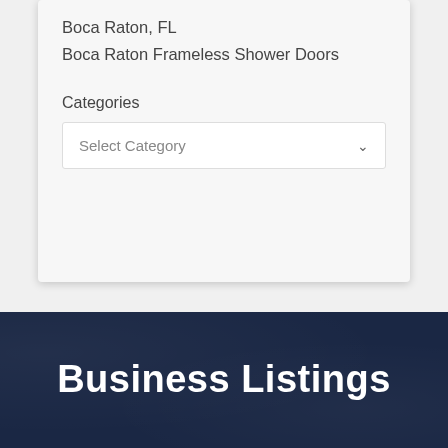Boca Raton, FL
Boca Raton Frameless Shower Doors
Categories
Select Category
Business Listings